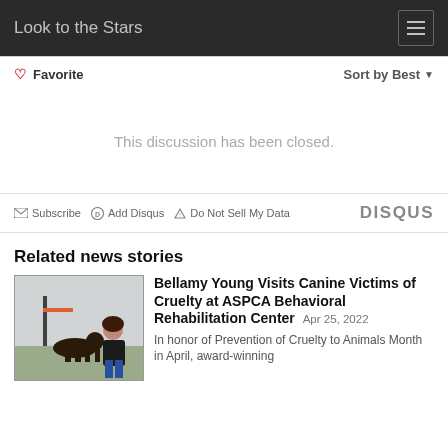Look to the Stars
Favorite   Sort by Best
This discussion has been closed.
Subscribe  Add Disqus  Do Not Sell My Data  DISQUS
Related news stories
[Figure (photo): Photo of Bellamy Young with a dog at an outdoor rehabilitation area]
Bellamy Young Visits Canine Victims of Cruelty at ASPCA Behavioral Rehabilitation Center Apr 25, 2022
In honor of Prevention of Cruelty to Animals Month in April, award-winning